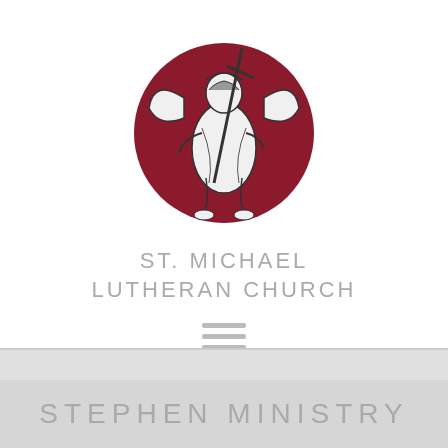[Figure (logo): St. Michael Lutheran Church logo: an angel figure holding a cross, depicted in black line art over a dark red/maroon circle background]
ST. MICHAEL LUTHERAN CHURCH
[Figure (other): Hamburger menu icon with three horizontal grey bars]
STEPHEN MINISTRY